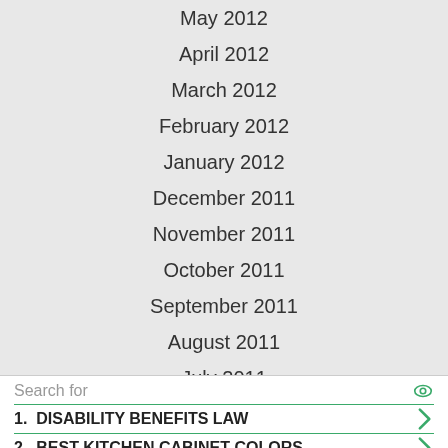May 2012
April 2012
March 2012
February 2012
January 2012
December 2011
November 2011
October 2011
September 2011
August 2011
July 2011
June 2011
May 2011
Search for
1.  DISABILITY BENEFITS LAW
2.  BEST KITCHEN CABINET COLORS